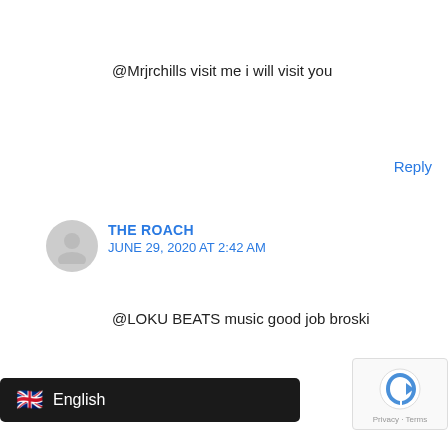@Mrjrchills visit me i will visit you
Reply
THE ROACH
JUNE 29, 2020 AT 2:42 AM
@LOKU BEATS music good job broski
Reply
LAUREN HAZEL
OCTOBER 15, 2020 AT 6:58 PM
hinking 😄
English
Privacy · Terms